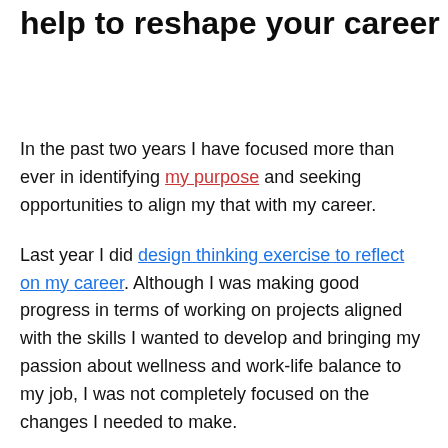help to reshape your career
In the past two years I have focused more than ever in identifying my purpose and seeking opportunities to align my that with my career.
Last year I did design thinking exercise to reflect on my career. Although I was making good progress in terms of working on projects aligned with the skills I wanted to develop and bringing my passion about wellness and work-life balance to my job, I was not completely focused on the changes I needed to make.
I realized I needed structure and